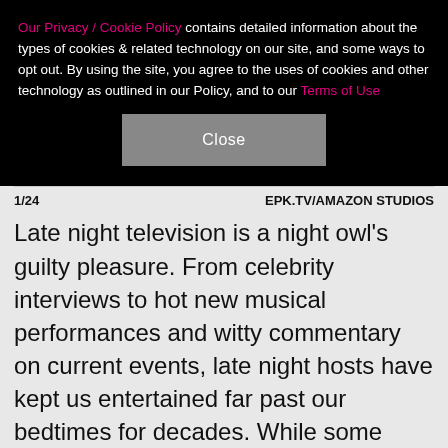Our Privacy / Cookie Policy contains detailed information about the types of cookies & related technology on our site, and some ways to opt out. By using the site, you agree to the uses of cookies and other technology as outlined in our Policy, and to our Terms of Use
Close
1/24   EPK.TV/AMAZON STUDIOS
Late night television is a night owl's guilty pleasure. From celebrity interviews to hot new musical performances and witty commentary on current events, late night hosts have kept us entertained far past our bedtimes for decades. While some hosts have come and gone, others have managed to become a permanent part of our evening entertainment lexicon. In the new Amazon flick "Late Night," Emma Thompson stars as Katherine Newbury, a late night TV host who teams up with one of her new staff writers, played by